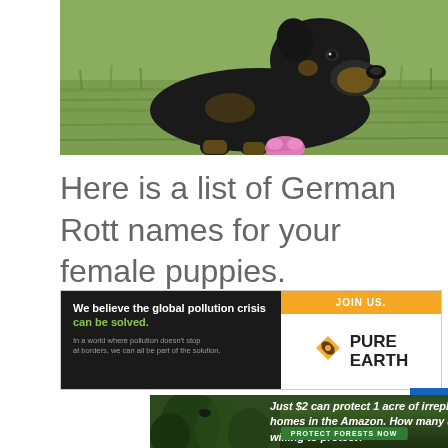[Figure (photo): A black and tan Rottweiler dog lying on grass, looking down at a pink toy]
Here is a list of German Rott names for your female puppies.
[Figure (other): Pure Earth advertisement banner: 'We believe the global pollution crisis can be solved. In a world where pollution doesn't stop at borders, we can all be part of the solution.' with JOIN US. button and Pure Earth logo]
[Figure (other): Amazon forest protection ad: 'Just $2 can protect 1 acre of irreplaceable forest homes in the Amazon. How many acres are you willing to protect?' with PROTECT FORESTS NOW button]